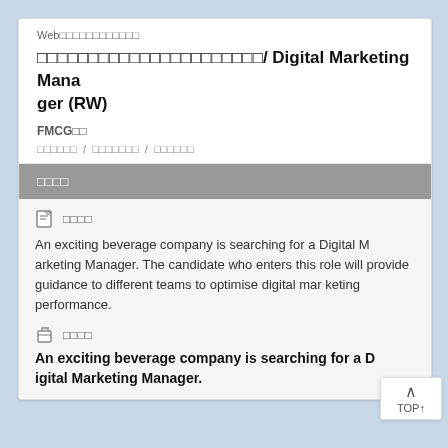Web□□□□□□□□□□□□
□□□□□□□□□□□□□□□□□□□□□□/ Digital Marketing Manager (RW)
FMCG□□
□□□□□□ / □□□□□□□ / □□□□□□
□□□□
□□□□
An exciting beverage company is searching for a Digital Marketing Manager. The candidate who enters this role will provide guidance to different teams to optimise digital marketing performance.
□□□□
An exciting beverage company is searching for a Digital Marketing Manager.